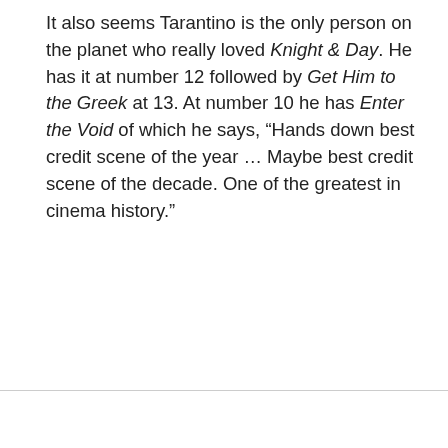It also seems Tarantino is the only person on the planet who really loved Knight & Day. He has it at number 12 followed by Get Him to the Greek at 13. At number 10 he has Enter the Void of which he says, “Hands down best credit scene of the year … Maybe best credit scene of the decade. One of the greatest in cinema history.”